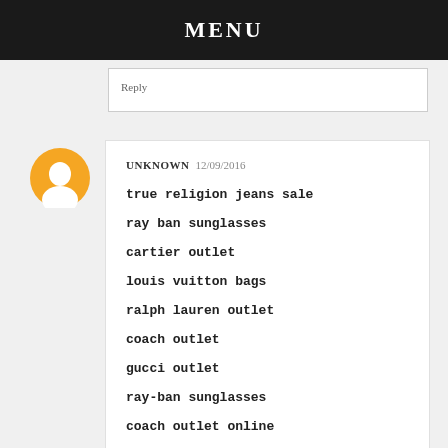MENU
Reply
UNKNOWN 12/09/2016
true religion jeans sale
ray ban sunglasses
cartier outlet
louis vuitton bags
ralph lauren outlet
coach outlet
gucci outlet
ray-ban sunglasses
coach outlet online